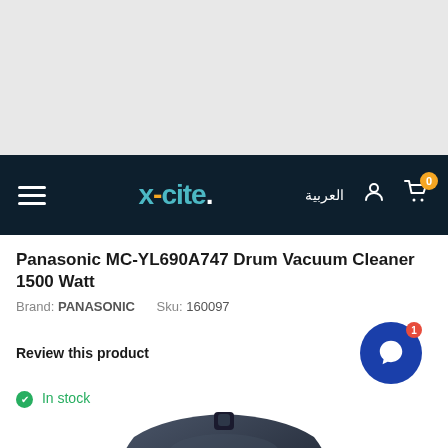[Figure (screenshot): Gray banner area at the top of the webpage, empty advertisement or header space]
x-cite. | العربية | cart: 0
Panasonic MC-YL690A747 Drum Vacuum Cleaner 1500 Watt
Brand: PANASONIC    Sku: 160097
Review this product
In stock
[Figure (photo): Top portion of a dark Panasonic drum vacuum cleaner, showing the handle/top section in dark gunmetal color]